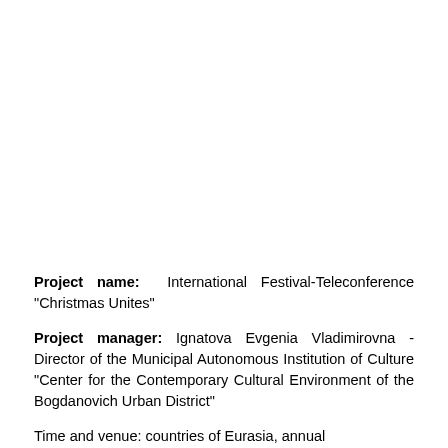Project name: International Festival-Teleconference "Christmas Unites"
Project manager: Ignatova Evgenia Vladimirovna - Director of the Municipal Autonomous Institution of Culture "Center for the Contemporary Cultural Environment of the Bogdanovich Urban District"
Time and venue: countries of Eurasia, annual
Project's goal: to create a space (including online space), based on